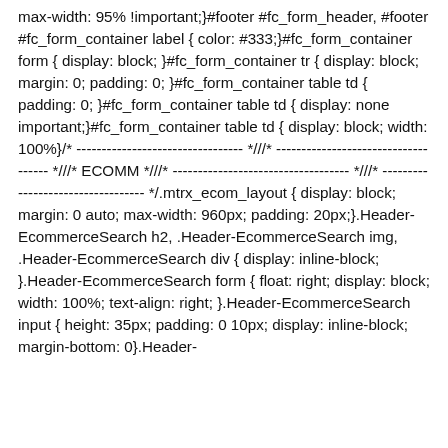max-width: 95% !important;}#footer #fc_form_header, #footer #fc_form_container label { color: #333;}#fc_form_container form { display: block; }#fc_form_container tr { display: block; margin: 0; padding: 0; }#fc_form_container table td { padding: 0; }#fc_form_container table td { display: none important;}#fc_form_container table td { display: block; width: 100%}/* --------------------------------- *///* ------------------------------------ *///* ECOMM *///* ----------------------------------- *///* ---------------------------------- */.mtrx_ecom_layout { display: block; margin: 0 auto; max-width: 960px; padding: 20px;}.Header-EcommerceSearch h2, .Header-EcommerceSearch img, .Header-EcommerceSearch div { display: inline-block; }.Header-EcommerceSearch form { float: right; display: block; width: 100%; text-align: right; }.Header-EcommerceSearch input { height: 35px; padding: 0 10px; display: inline-block; margin-bottom: 0}.Header-